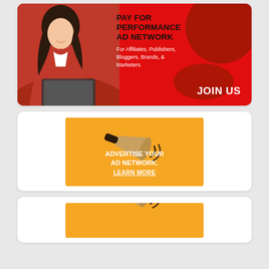[Figure (illustration): Red background ad banner with a woman in a red blazer at a laptop. Text reads: PAY FOR PERFORMANCE AD NETWORK. For Affiliates, Publishers, Bloggers, Brands, & Marketers. JOIN US.]
[Figure (illustration): Orange/yellow background ad banner with a megaphone illustration. Text reads: ADVERTISE YOUR AD NETWORK. LEARN MORE]
[Figure (illustration): Orange/yellow background ad banner (partial, cropped) with a megaphone illustration.]